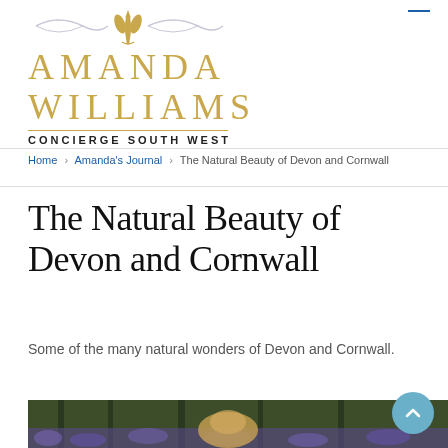Amanda Williams Concierge South West
Home > Amanda's Journal > The Natural Beauty of Devon and Cornwall
The Natural Beauty of Devon and Cornwall
Some of the many natural wonders of Devon and Cornwall.
[Figure (photo): A person sitting among purple bluebell flowers in a woodland setting]